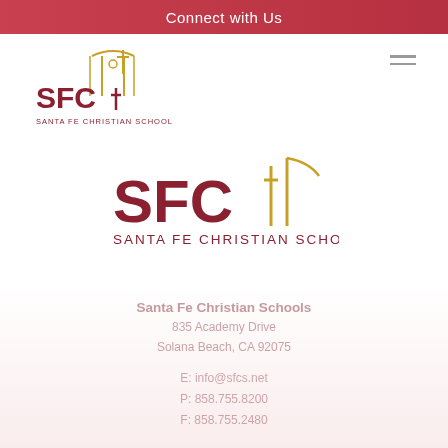Connect with Us
[Figure (logo): Santa Fe Christian Schools small navigation logo top-left: SFC letters in dark red with golden arch building icon above, text SANTA FE CHRISTIAN SCHOOLS below]
[Figure (logo): Santa Fe Christian Schools large centered logo: SFC letters in dark red with golden cross/arch icon, text SANTA FE CHRISTIAN SCHOOLS below]
Santa Fe Christian Schools
835 Academy Drive
Solana Beach, CA 92075
E: info@sfcs.net
P: 858.755.8200
F: 858.755.2480